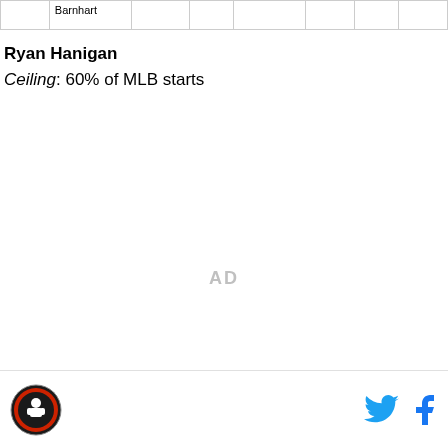|  | Barnhart |  |  |  |  |  |  |
Ryan Hanigan
Ceiling: 60% of MLB starts
[Figure (other): AD placeholder text centered on page]
[Figure (logo): Footer logo - circular sports logo with red and black colors]
[Figure (other): Twitter bird icon (blue) and Facebook f icon (blue) in footer]